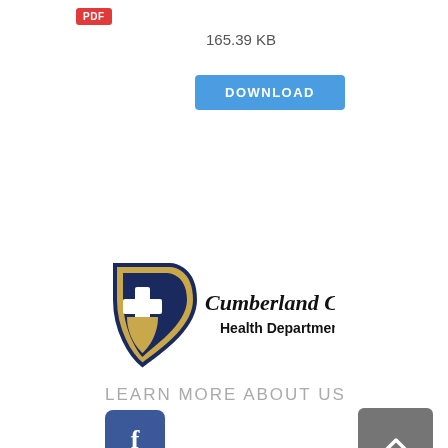[Figure (logo): Red PDF badge icon]
165.39 KB
DOWNLOAD
[Figure (logo): Cumberland County Health Department logo with shield and text]
LEARN MORE ABOUT US
[Figure (logo): Facebook social media button (f icon, blue rounded square)]
[Figure (other): Scroll to top button with upward chevron arrow, dark grey rounded square]